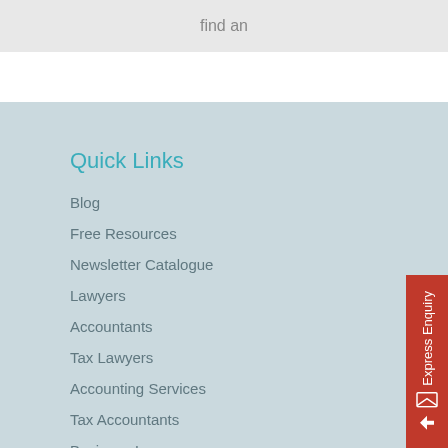find an
Quick Links
Blog
Free Resources
Newsletter Catalogue
Lawyers
Accountants
Tax Lawyers
Accounting Services
Tax Accountants
Business Lawyers
Family Lawyers
Express Enquiry